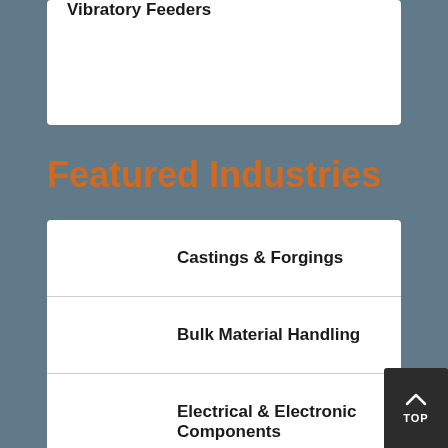Vibratory Feeders
Featured Industries
Castings & Forgings
Bulk Material Handling
Electrical & Electronic Components
Flow Instrumentation